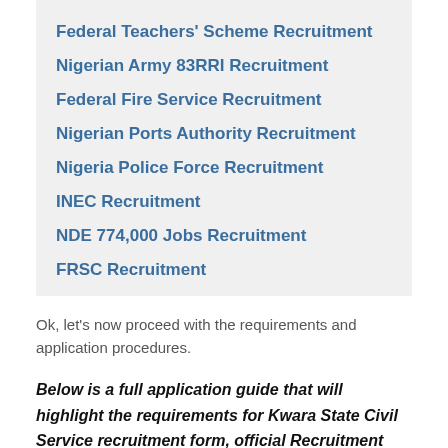Federal Teachers' Scheme Recruitment
Nigerian Army 83RRI Recruitment
Federal Fire Service Recruitment
Nigerian Ports Authority Recruitment
Nigeria Police Force Recruitment
INEC Recruitment
NDE 774,000 Jobs Recruitment
FRSC Recruitment
Ok, let's now proceed with the requirements and application procedures.
Below is a full application guide that will highlight the requirements for Kwara State Civil Service recruitment form, official Recruitment Portal, guidelines and the latest news on